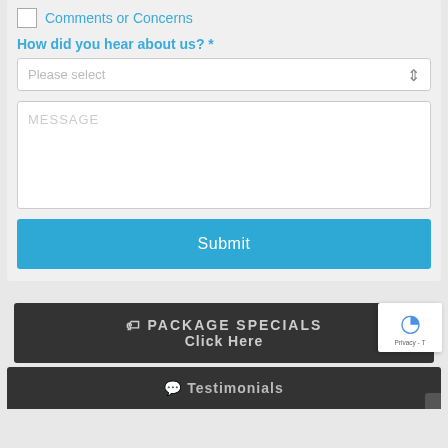Comments or Concerns
How did you hear about us?  *
Please select
MESSAGE
Submit
PACKAGE SPECIALS Click Here
Testimonials